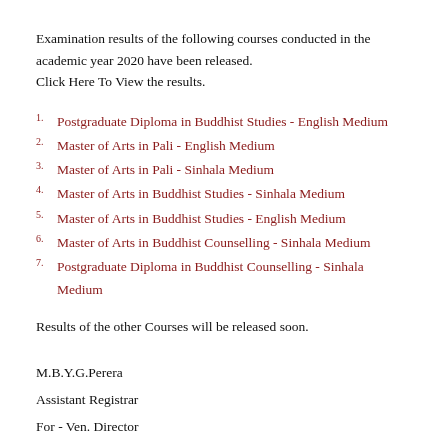Examination results of the following courses conducted in the academic year 2020 have been released.
Click Here To View the results.
1. Postgraduate Diploma in Buddhist Studies - English Medium
2. Master of Arts in Pali - English Medium
3. Master of Arts in Pali - Sinhala Medium
4. Master of Arts in Buddhist Studies - Sinhala Medium
5. Master of Arts in Buddhist Studies - English Medium
6. Master of Arts in Buddhist Counselling - Sinhala Medium
7. Postgraduate Diploma in Buddhist Counselling - Sinhala Medium
Results of the other Courses will be released soon.
M.B.Y.G.Perera
Assistant Registrar
For - Ven. Director